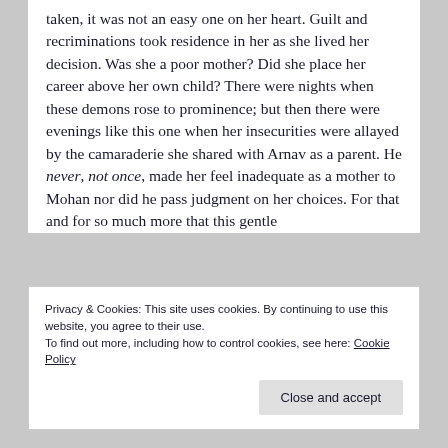taken, it was not an easy one on her heart. Guilt and recriminations took residence in her as she lived her decision. Was she a poor mother? Did she place her career above her own child? There were nights when these demons rose to prominence; but then there were evenings like this one when her insecurities were allayed by the camaraderie she shared with Arnav as a parent. He never, not once, made her feel inadequate as a mother to Mohan nor did he pass judgment on her choices. For that and for so much more that this gentle
Privacy & Cookies: This site uses cookies. By continuing to use this website, you agree to their use.
To find out more, including how to control cookies, see here: Cookie Policy